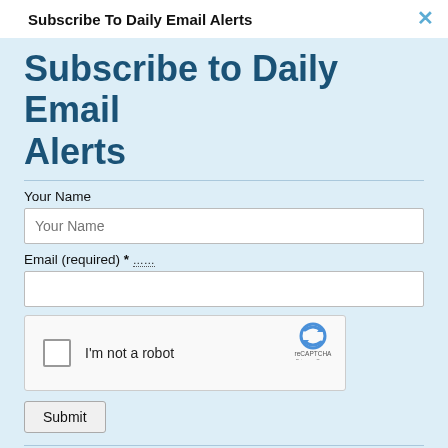Subscribe To Daily Email Alerts
Subscribe to Daily Email Alerts
Your Name
Email (required) *
[Figure (other): reCAPTCHA widget with checkbox labeled 'I'm not a robot' and reCAPTCHA logo with Privacy - Terms links]
Submit
By submitting this form, you are consenting to receive marketing emails from: News With Views, P.O. Box 990, Spring Branch, TX, 78070-9998,